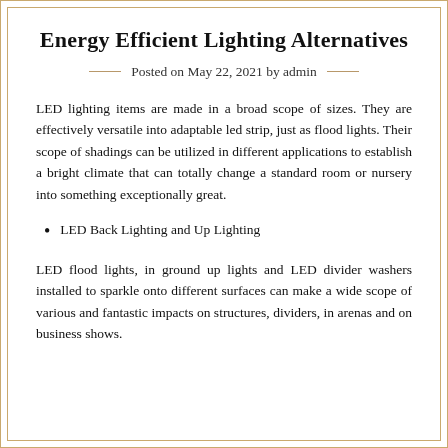Energy Efficient Lighting Alternatives
Posted on May 22, 2021 by admin
LED lighting items are made in a broad scope of sizes. They are effectively versatile into adaptable led strip, just as flood lights. Their scope of shadings can be utilized in different applications to establish a bright climate that can totally change a standard room or nursery into something exceptionally great.
LED Back Lighting and Up Lighting
LED flood lights, in ground up lights and LED divider washers installed to sparkle onto different surfaces can make a wide scope of various and fantastic impacts on structures, dividers, in arenas and on business shows.